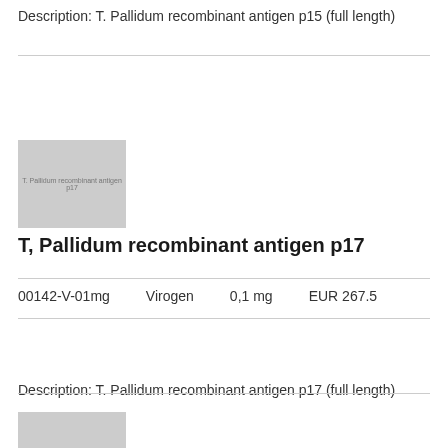Description: T. Pallidum recombinant antigen p15 (full length)
[Figure (photo): Product image placeholder for T. Pallidum recombinant antigen p17]
T, Pallidum recombinant antigen p17
00142-V-01mg    Virogen    0,1 mg    EUR 267.5
Description: T. Pallidum recombinant antigen p17 (full length)
[Figure (photo): Product image placeholder for T. Pallidum recombinant antigen p17]